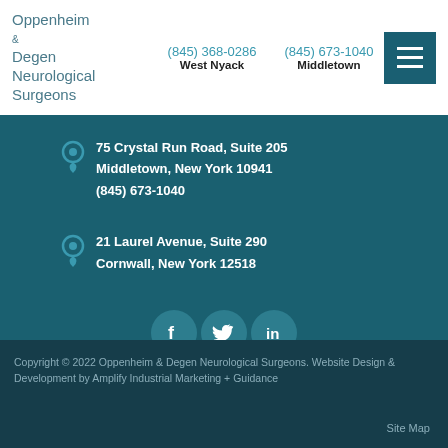[Figure (logo): Oppenheim & Degen Neurological Surgeons logo text in teal]
(845) 368-0286 West Nyack   (845) 673-1040 Middletown
75 Crystal Run Road, Suite 205 Middletown, New York 10941 (845) 673-1040
21 Laurel Avenue, Suite 290 Cornwall, New York 12518
[Figure (infographic): Social media icons: Facebook, Twitter, LinkedIn]
Copyright © 2022 Oppenheim & Degen Neurological Surgeons. Website Design & Development by Amplify Industrial Marketing + Guidance
Site Map